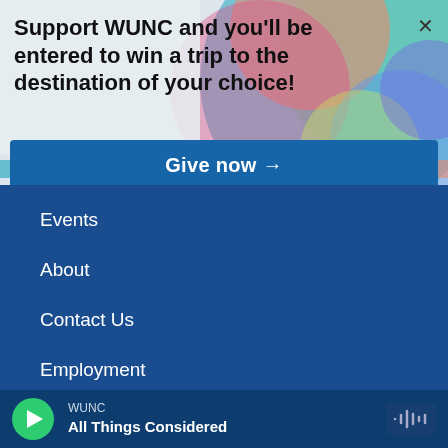[Figure (screenshot): Colorful circular geometric background with overlapping shapes in teal, pink, orange, green, and blue tones]
Support WUNC and you'll be entered to win a trip to the destination of your choice!
Give now →
Events
About
Contact Us
Employment
Privacy
FCC Applications
WUNC
All Things Considered